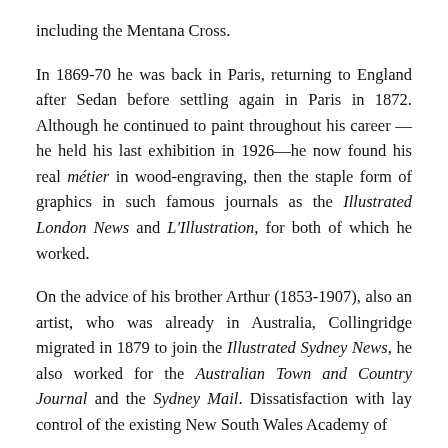including the Mentana Cross.
In 1869-70 he was back in Paris, returning to England after Sedan before settling again in Paris in 1872. Although he continued to paint throughout his career —he held his last exhibition in 1926—he now found his real métier in wood-engraving, then the staple form of graphics in such famous journals as the Illustrated London News and L'Illustration, for both of which he worked.
On the advice of his brother Arthur (1853-1907), also an artist, who was already in Australia, Collingridge migrated in 1879 to join the Illustrated Sydney News, he also worked for the Australian Town and Country Journal and the Sydney Mail. Dissatisfaction with lay control of the existing New South Wales Academy of